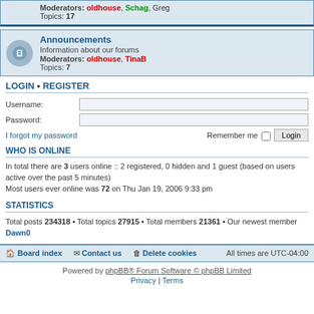Moderators: oldhouse, Schag, Greg
Topics: 17
Announcements
Information about our forums
Moderators: oldhouse, TinaB
Topics: 7
LOGIN • REGISTER
Username:
Password:
I forgot my password
Remember me  Login
WHO IS ONLINE
In total there are 2 users online :: 2 registered, 0 hidden and 1 guest (based on users active over the past 5 minutes)
Most users ever online was 72 on Thu Jan 19, 2006 9:33 pm
STATISTICS
Total posts 234318 • Total topics 27915 • Total members 21361 • Our newest member Dawn0
Board index  Contact us  Delete cookies  All times are UTC-04:00
Powered by phpBB® Forum Software © phpBB Limited
Privacy | Terms